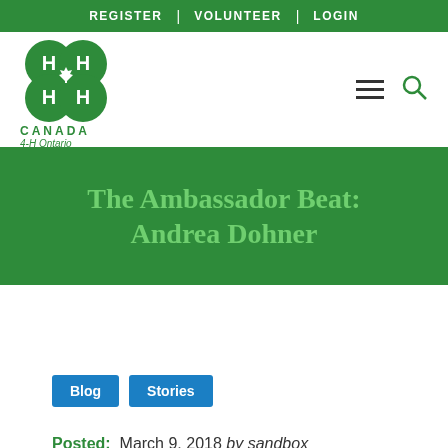REGISTER | VOLUNTEER | LOGIN
[Figure (logo): 4-H Canada logo with four-leaf clover design containing H's and a maple leaf, with text CANADA and 4-H Ontario below]
The Ambassador Beat: Andrea Dohner
Blog
Stories
Posted: March 9, 2018 by sandbox